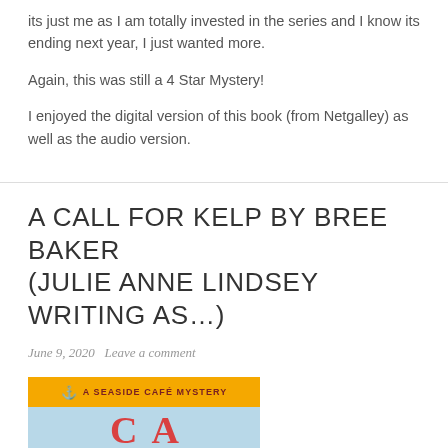its just me as I am totally invested in the series and I know its ending next year, I just wanted more.
Again, this was still a 4 Star Mystery!
I enjoyed the digital version of this book (from Netgalley) as well as the audio version.
A CALL FOR KELP BY BREE BAKER (JULIE ANNE LINDSEY WRITING AS…)
June 9, 2020   Leave a comment
[Figure (illustration): Book cover banner for 'A Seaside Café Mystery' with an anchor icon and orange background, with partial red lettering on a light blue background below.]